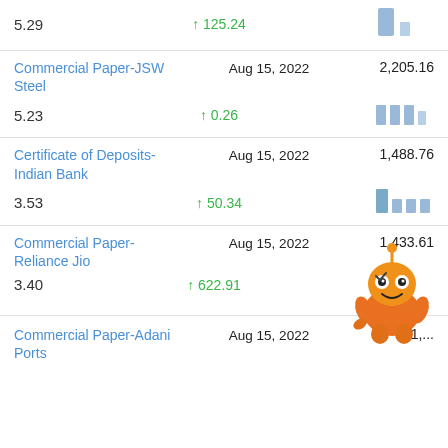5.29 ↑ 125.24
[Figure (bar-chart): Small mini bar chart, two bars of different heights, blue/grey color]
Commercial Paper-JSW Steel | Aug 15, 2022 | 2,205.16
5.23 ↑ 0.26
[Figure (bar-chart): Small mini bar chart, four bars of similar heights, blue/grey color]
Certificate of Deposits-Indian Bank | Aug 15, 2022 | 1,488.76
3.53 ↑ 50.34
[Figure (bar-chart): Small mini bar chart, four bars, first tall then shorter, blue/grey color]
Commercial Paper-Reliance Jio | Aug 15, 2022 | 1,433.61
3.40 ↑ 622.91
[Figure (illustration): Orange cartoon robot mascot character]
Commercial Paper-Adani Ports | Aug 15, 2022 | 1,...